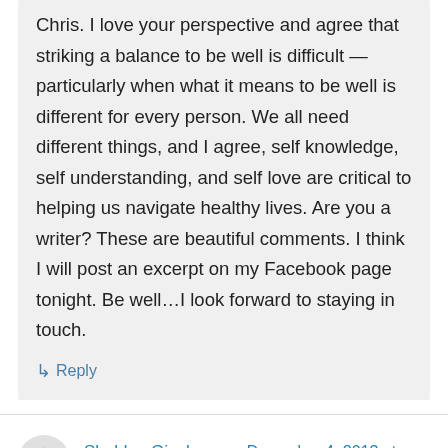Chris. I love your perspective and agree that striking a balance to be well is difficult — particularly when what it means to be well is different for every person. We all need different things, and I agree, self knowledge, self understanding, and self love are critical to helping us navigate healthy lives. Are you a writer? These are beautiful comments. I think I will post an excerpt on my Facebook page tonight. Be well…I look forward to staying in touch.
↳ Reply
Sheldon Ginsberg on December 4, 2013 at 11:01 am
Hello, I liked to post your blogs on my website